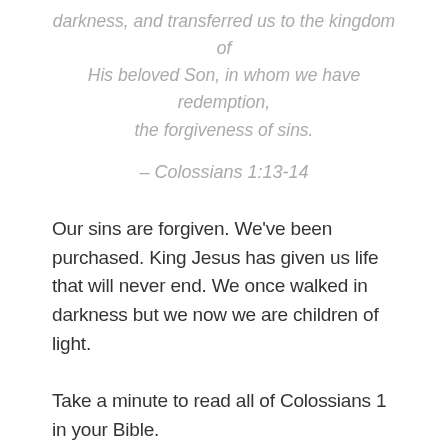darkness, and transferred us to the kingdom of His beloved Son, in whom we have redemption, the forgiveness of sins.
– Colossians 1:13-14
Our sins are forgiven. We've been purchased. King Jesus has given us life that will never end. We once walked in darkness but we now we are children of light.
Take a minute to read all of Colossians 1 in your Bible.
The words we just read aren't some philosopher's opinions. They are promises from God. We don't want to just read His Word. We